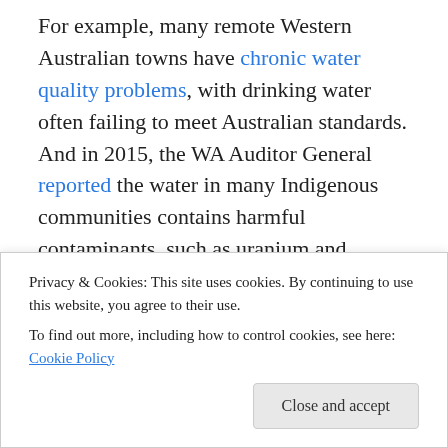For example, many remote Western Australian towns have chronic water quality problems, with drinking water often failing to meet Australian standards. And in 2015, the WA Auditor General reported the water in many Indigenous communities contains harmful contaminants, such as uranium and nitrates.
The source of this contamination is often naturally occurring chemical compounds in the local geology of ground water supplies.
One of the biggest contamination incidents in Australia ... diseases such as gastroenteritis or cryptosporidiosis. It
Privacy & Cookies: This site uses cookies. By continuing to use this website, you agree to their use. To find out more, including how to control cookies, see here: Cookie Policy
Close and accept